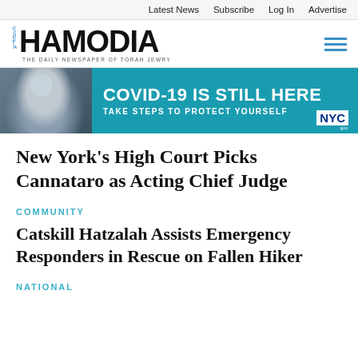Latest News  Subscribe  Log In  Advertise
[Figure (logo): Hamodia newspaper logo with Hebrew letters and tagline 'THE DAILY NEWSPAPER OF TORAH JEWRY']
[Figure (infographic): NYC COVID-19 banner ad: 'COVID-19 IS STILL HERE — TAKE STEPS TO PROTECT YOURSELF' with photo of masked person and NYC logo]
New York’s High Court Picks Cannataro as Acting Chief Judge
COMMUNITY
Catskill Hatzalah Assists Emergency Responders in Rescue on Fallen Hiker
NATIONAL